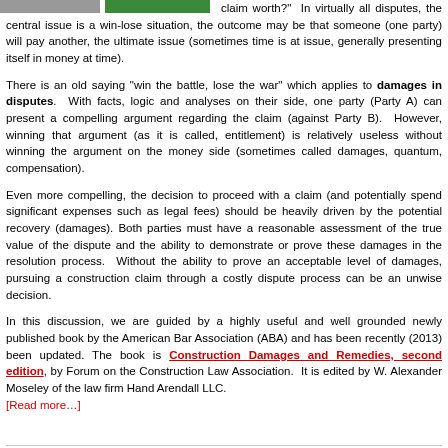[Figure (photo): Two small thumbnail images side by side at top left — one appears gray/photo, one green.]
claim worth?"  In virtually all disputes, the central issue is a win-lose situation, the outcome may be that someone (one party) will pay another, the ultimate issue (sometimes time is at issue, generally presenting itself in money at time).
There is an old saying "win the battle, lose the war" which applies to damages in disputes.  With facts, logic and analyses on their side, one party (Party A) can present a compelling argument regarding the claim (against Party B).  However, winning that argument (as it is called, entitlement) is relatively useless without winning the argument on the money side (sometimes called damages, quantum, compensation).
Even more compelling, the decision to proceed with a claim (and potentially spend significant expenses such as legal fees) should be heavily driven by the potential recovery (damages). Both parties must have a reasonable assessment of the true value of the dispute and the ability to demonstrate or prove these damages in the resolution process.  Without the ability to prove an acceptable level of damages, pursuing a construction claim through a costly dispute process can be an unwise decision.
In this discussion, we are guided by a highly useful and well grounded newly published book by the American Bar Association (ABA) and has been recently (2013) been updated. The book is Construction Damages and Remedies, second edition, by Forum on the Construction Law Association.  It is edited by W. Alexander Moseley of the law firm Hand Arendall LLC. [Read more…]